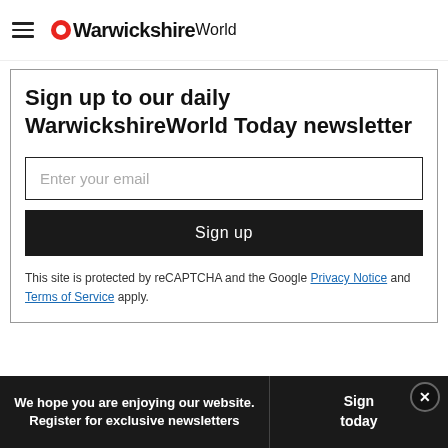WarwickshireWorld
Sign up to our daily WarwickshireWorld Today newsletter
Enter your email
Sign up
This site is protected by reCAPTCHA and the Google Privacy Notice and Terms of Service apply.
We hope you are enjoying our website. Register for exclusive newsletters
Sign today